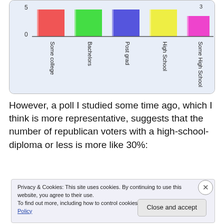[Figure (bar-chart): Horizontal bar chart showing education levels with colored bars. Top portion visible with y-axis values 0 and 5 visible, and 3 on rightmost bar. X-axis labels rotated: Some college, Bachelors, Post grad, High School, Some High School.]
However, a poll I studied some time ago, which I think is more representative, suggests that the number of republican voters with a high-school-diploma or less is more like 30%:
Privacy & Cookies: This site uses cookies. By continuing to use this website, you agree to their use.
To find out more, including how to control cookies, see here: Cookie Policy